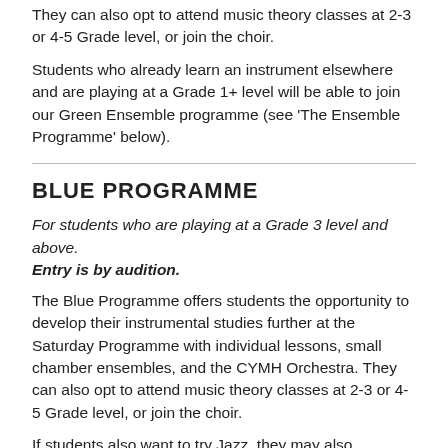They can also opt to attend music theory classes at 2-3 or 4-5 Grade level, or join the choir.
Students who already learn an instrument elsewhere and are playing at a Grade 1+ level will be able to join our Green Ensemble programme (see ‘The Ensemble Programme’ below).
BLUE PROGRAMME
For students who are playing at a Grade 3 level and above.
Entry is by audition.
The Blue Programme offers students the opportunity to develop their instrumental studies further at the Saturday Programme with individual lessons, small chamber ensembles, and the CYMH Orchestra. They can also opt to attend music theory classes at 2-3 or 4-5 Grade level, or join the choir.
If students also want to try Jazz, they may also (timetable dependent) attend the Jazz Orchestra. Students who learn an instrument elsewhere and are playing at Grade 3 or above will be able to join our Blue Ensemble programme (see ‘The Ensemble